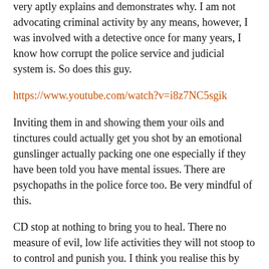very aptly explains and demonstrates why. I am not advocating criminal activity by any means, however, I was involved with a detective once for many years, I know how corrupt the police service and judicial system is. So does this guy.
https://www.youtube.com/watch?v=i8z7NC5sgik
Inviting them in and showing them your oils and tinctures could actually get you shot by an emotional gunslinger actually packing one one especially if they have been told you have mental issues. There are psychopaths in the police force too. Be very mindful of this.
CD stop at nothing to bring you to heal. There no measure of evil, low life activities they will not stoop to to control and punish you. I think you realise this by now. Please don't make the mistake of casting them in the same light as us and above